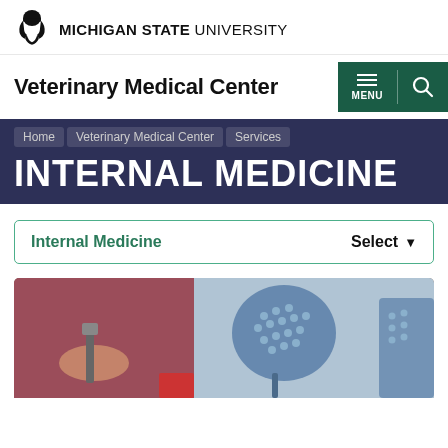Michigan State University — Veterinary Medical Center
Veterinary Medical Center
INTERNAL MEDICINE
Home Veterinary Medical Center Services
Internal Medicine   Select ▼
[Figure (photo): A person in maroon scrubs holding a medical instrument, with blue perforated chairs visible in the background of a clinical setting]